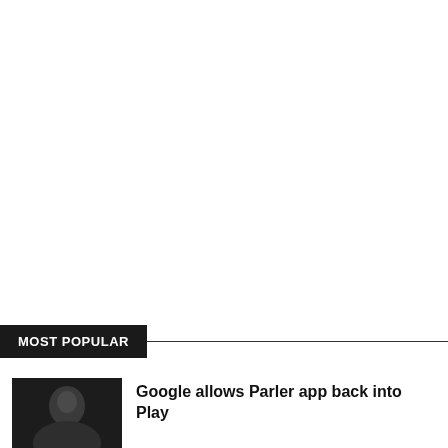MOST POPULAR
[Figure (photo): Dark thumbnail photo of a person]
Google allows Parler app back into Play